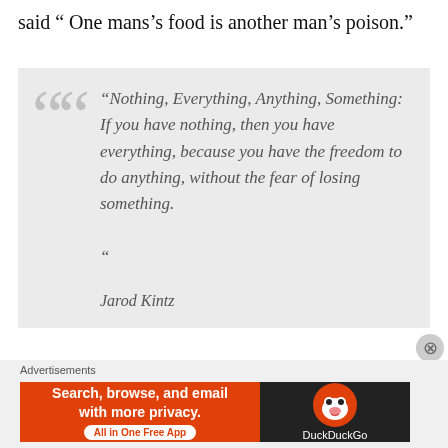said “ One mans’s food is another man’s poison.”
“Nothing, Everything, Anything, Something: If you have nothing, then you have everything, because you have the freedom to do anything, without the fear of losing something.”

Jarod Kintz
Nothing is something, and something could be anything or everything, which means that
[Figure (other): DuckDuckGo advertisement banner: orange section with text 'Search, browse, and email with more privacy. All in One Free App', dark section with DuckDuckGo duck logo and 'DuckDuckGo' text]